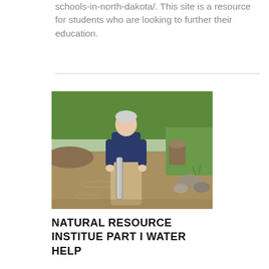schools-in-north-dakota/. This site is a resource for students who are looking to further their education.
[Figure (photo): A man wearing waders standing in a shallow stream or creek, holding a cylindrical water sampling tube. Green grassy banks and rocks are visible in the background.]
NATURAL RESOURCE INSTITUE PART I WATER HELP